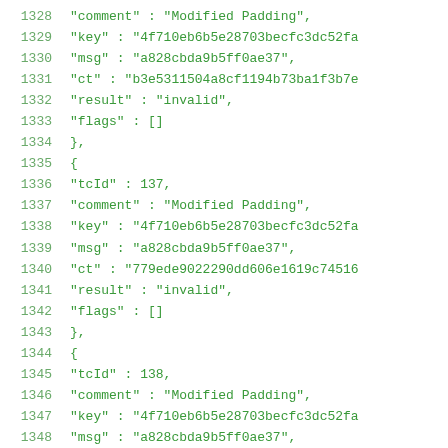1328    "comment" : "Modified Padding",
1329    "key" : "4f710eb6b5e28703becfc3dc52fa
1330    "msg" : "a828cbda9b5ff0ae37",
1331    "ct" : "b3e5311504a8cf1194b73ba1f3b7e
1332    "result" : "invalid",
1333    "flags" : []
1334    },
1335    {
1336    "tcId" : 137,
1337    "comment" : "Modified Padding",
1338    "key" : "4f710eb6b5e28703becfc3dc52fa
1339    "msg" : "a828cbda9b5ff0ae37",
1340    "ct" : "779ede9022290dd606e1619c74516
1341    "result" : "invalid",
1342    "flags" : []
1343    },
1344    {
1345    "tcId" : 138,
1346    "comment" : "Modified Padding",
1347    "key" : "4f710eb6b5e28703becfc3dc52fa
1348    "msg" : "a828cbda9b5ff0ae37",